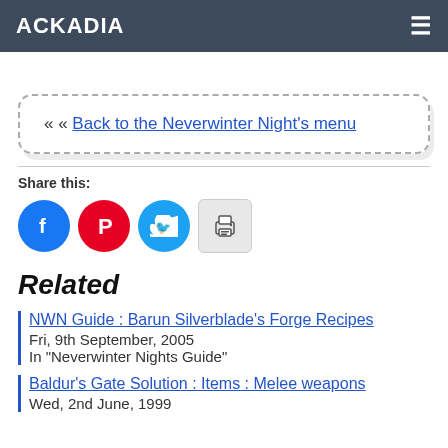ACKADIA
« « Back to the Neverwinter Night's menu
Share this:
[Figure (other): Social share buttons: Facebook (blue circle), Pinterest (red circle), Twitter (cyan circle), Print (grey square)]
Related
NWN Guide : Barun Silverblade's Forge Recipes
Fri, 9th September, 2005
In "Neverwinter Nights Guide"
Baldur's Gate Solution : Items : Melee weapons
Wed, 2nd June, 1999